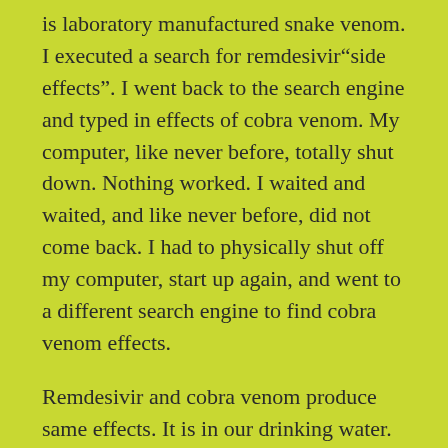is laboratory manufactured snake venom. I executed a search for remdesivir“side effects”. I went back to the search engine and typed in effects of cobra venom. My computer, like never before, totally shut down. Nothing worked. I waited and waited, and like never before, did not come back. I had to physically shut off my computer, start up again, and went to a different search engine to find cobra venom effects.
Remdesivir and cobra venom produce same effects. It is in our drinking water.
Before I provide my references, please, just think for a moment.
If you do not believe it think of the other contaminants in our drinking water, air and vaccines.